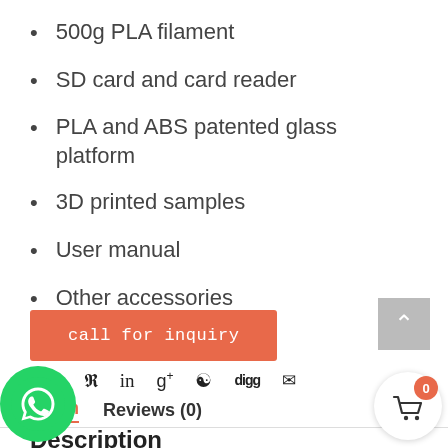500g PLA filament
SD card and card reader
PLA and ABS patented glass platform
3D printed samples
User manual
Other accessories
call for inquiry
Description
Reviews (0)